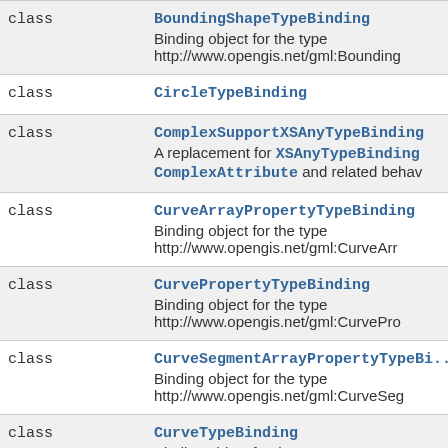| Kind | Class / Description |
| --- | --- |
| class | BoundingShapeTypeBinding
Binding object for the type http://www.opengis.net/gml:Bounding... |
| class | CircleTypeBinding |
| class | ComplexSupportXSAnyTypeBinding
A replacement for XSAnyTypeBinding ComplexAttribute and related behav... |
| class | CurveArrayPropertyTypeBinding
Binding object for the type http://www.opengis.net/gml:CurveArr... |
| class | CurvePropertyTypeBinding
Binding object for the type http://www.opengis.net/gml:CurvePro... |
| class | CurveSegmentArrayPropertyTypeBinding
Binding object for the type http://www.opengis.net/gml:CurveSeg... |
| class | CurveTypeBinding
Binding object for the type... |